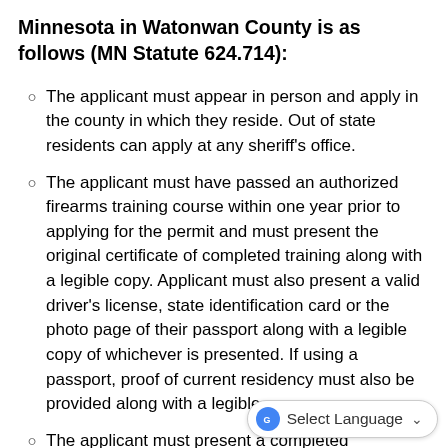Minnesota in Watonwan County is as follows (MN Statute 624.714):
The applicant must appear in person and apply in the county in which they reside. Out of state residents can apply at any sheriff’s office.
The applicant must have passed an authorized firearms training course within one year prior to applying for the permit and must present the original certificate of completed training along with a legible copy. Applicant must also present a valid driver’s license, state identification card or the photo page of their passport along with a legible copy of whichever is presented. If using a passport, proof of current residency must also be provided along with a legible copy.
The applicant must present a completed application signed and dated on the date…